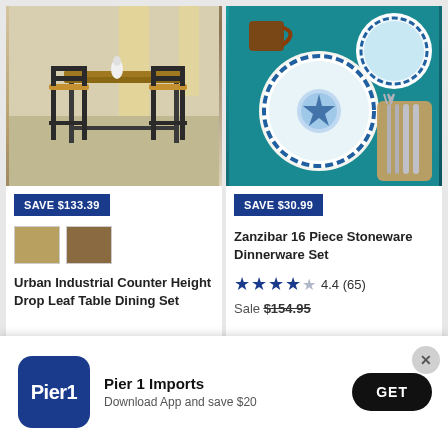[Figure (photo): Urban industrial counter height drop leaf table dining set with bar stools in a room setting]
SAVE $133.39
[Figure (photo): Two thumbnail images of the dining table set]
Urban Industrial Counter Height Drop Leaf Table Dining Set
[Figure (photo): Zanzibar 16 Piece Stoneware Dinnerware Set with decorative blue and colorful plates on teal background]
SAVE $30.99
Zanzibar 16 Piece Stoneware Dinnerware Set
4.4 (65)
Sale $154.95
[Figure (logo): Pier 1 Imports logo]
Pier 1 Imports
Download App and save $20
GET